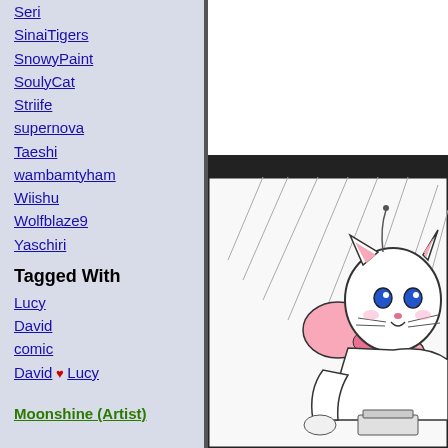Seri
SinaiTigers
SnowyPaint
SoulyCat
Striife
supernova
Taeshi
wambamtyham
Wiishu
Wolfblaze9
Yaschiri
Tagged With
Lucy
David
comic
David ♥ Lucy
Moonshine (Artist)
[Figure (illustration): Comic illustration of an anthropomorphic cat character with white fur, blue eyes, and a pink bow, sitting and looking forward. The image is drawn in a sketch/line-art style with hatching lines in the background.]